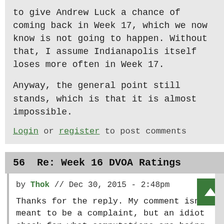to give Andrew Luck a chance of coming back in Week 17, which we now know is not going to happen. Without that, I assume Indianapolis itself loses more often in Week 17.
Anyway, the general point still stands, which is that it is almost impossible.
Login or register to post comments
56  Re: Week 16 DVOA Ratings
by Thok // Dec 30, 2015 - 2:48pm
Thanks for the reply. My comment isn't meant to be a complaint, but an idiot check for what computations are being